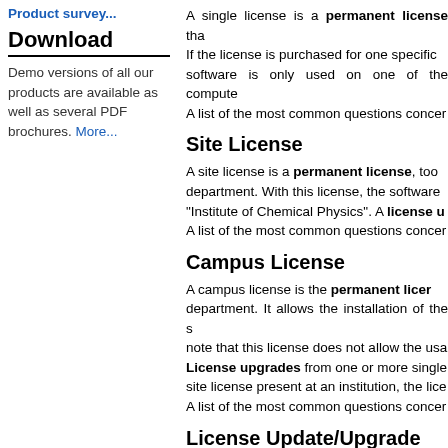Product survey...
Download
Demo versions of all our products are available as well as several PDF brochures. More...
A single license is a permanent license tha... If the license is purchased for one specific ... software is only used on one of the compute... A list of the most common questions concer...
Site License
A site license is a permanent license, too... department. With this license, the software... "Institute of Chemical Physics". A license u... A list of the most common questions concer...
Campus License
A campus license is the permanent licer... department. It allows the installation of the s... note that this license does not allow the usa... License upgrades from one or more single... site license present at an institution, the lice... A list of the most common questions concer...
License Update/Upgrade
A license upgrade is used to change e.g. f... a particular product to a higher version (e.g.... Note: A license upgrade does not include a...
License Transfer
A license is normally registered for th...